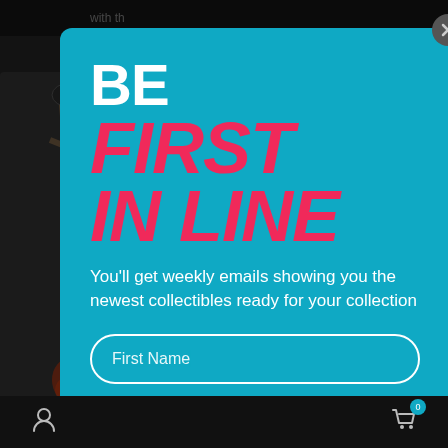[Figure (screenshot): Background showing a dark e-commerce website with collectible figures and weapons on left and right sides, with text 'with th' visible at top]
BE FIRST IN LINE
You'll get weekly emails showing you the newest collectibles ready for your collection
First Name
Email Address
JOIN NOW